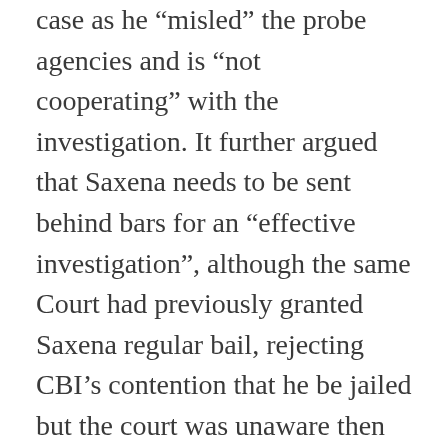case as he “misled” the probe agencies and is “not cooperating” with the investigation. It further argued that Saxena needs to be sent behind bars for an “effective investigation”, although the same Court had previously granted Saxena regular bail, rejecting CBI’s contention that he be jailed but the court was unaware then of his attempts to acquire Dominican citizenship to thwart the probe.
There is no information to indicate whether Rajiv Saxena eventually succeeded in acquiring citizenship from Dominica, information that the people of Dominica will sadly not be made aware of as long as the non-transparent and